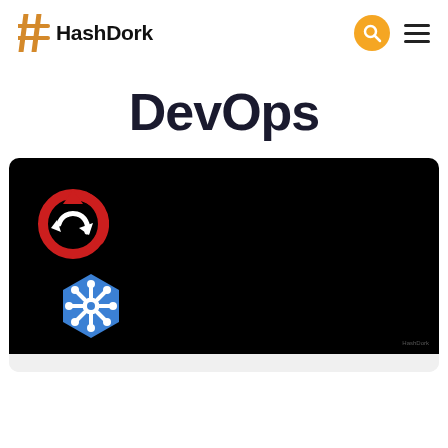#HashDork
DevOps
[Figure (screenshot): Dark background image showing the OpenShift red circular refresh/sync logo icon and the Kubernetes blue ship wheel (helm) logo icon stacked vertically on a black background, with a small HashDork watermark in the bottom right corner.]